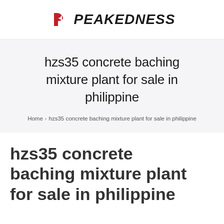[Figure (logo): Peakedness logo: red arrow/P icon followed by bold italic text PEAKEDNESS]
hzs35 concrete baching mixture plant for sale in philippine
Home > hzs35 concrete baching mixture plant for sale in philippine
hzs35 concrete baching mixture plant for sale in philippine